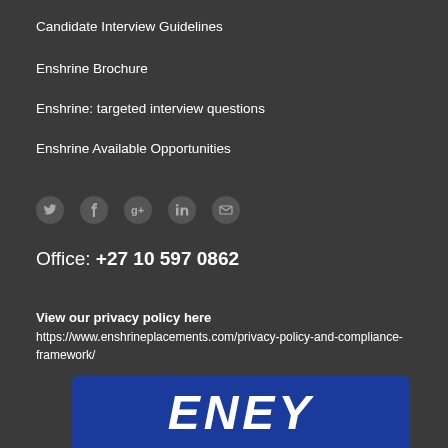Candidate Interview Guidelines
Enshrine Brochure
Enshrine: targeted interview questions
Enshrine Available Opportunities
[Figure (infographic): Row of social media icons: Twitter, Facebook, Google+, LinkedIn, Email]
Office: +27 10 597 0862
View our privacy policy here
https://www.enshrineplacements.com/privacy-policy-and-compliance-framework/
[Figure (logo): Enshrine logo banner with blue background and white italic text reading ENEY]